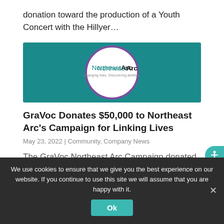donation toward the production of a Youth Concert with the Hillyer…
[Figure (logo): Northeast Arc logo — teal background with white circle containing 'NortheastArc' in teal and purple text with tagline 'Changing lives. Discovering abilities.']
GraVoc Donates $50,000 to Northeast Arc's Campaign for Linking Lives
May 23, 2022 | Community, Company News
The GraVoc Northeast Arc Campaign donated $50,000...
We use cookies to ensure that we give you the best experience on our website. If you continue to use this site we will assume that you are happy with it.